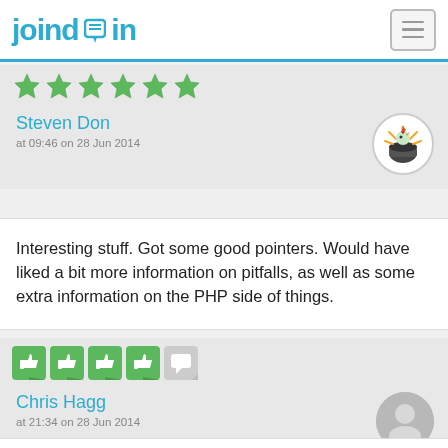joind.in
[Figure (illustration): Green star rating icons row (partial, cropped at top)]
Steven Don
at 09:46 on 28 Jun 2014
[Figure (illustration): User avatar with cartoon character (chicken/rooster with explosion) on white circular background]
Interesting stuff. Got some good pointers. Would have liked a bit more information on pitfalls, as well as some extra information on the PHP side of things.
[Figure (illustration): Four green thumbs-up icons and one gray speech bubble icon]
Chris Hagg
at 21:34 on 28 Jun 2014
[Figure (illustration): Generic gray user avatar circle with person silhouette]